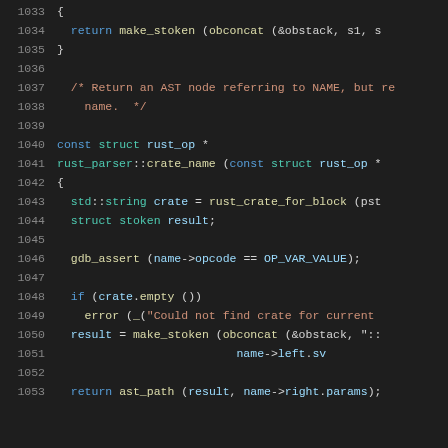[Figure (screenshot): Source code listing in a dark-themed code editor showing C++ code lines 1033-1053. The code includes a function returning make_stoken with obconcat, a comment about returning an AST node referring to NAME, a const struct rust_op function rust_parser::crate_name, with logic for finding crate names using gdb_assert, if/error checks, and make_stoken calls.]